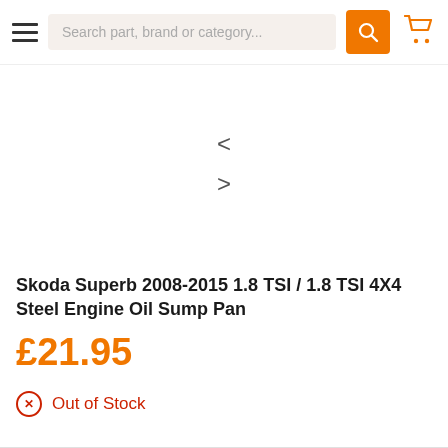Search part, brand or category...
[Figure (other): Product image carousel area with left/right navigation arrows (< and >)]
Skoda Superb 2008-2015 1.8 TSI / 1.8 TSI 4X4 Steel Engine Oil Sump Pan
£21.95
Out of Stock